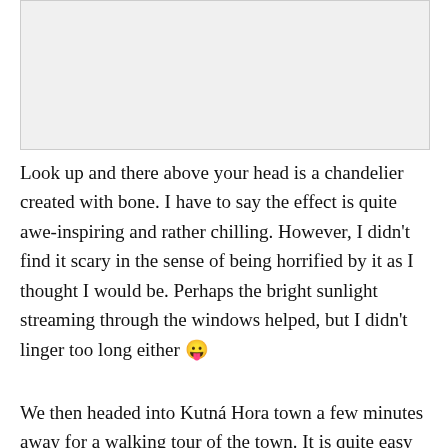[Figure (photo): Photograph placeholder — light grey rectangle representing an image above the text, likely showing a bone chandelier or interior of a church/ossuary.]
Look up and there above your head is a chandelier created with bone. I have to say the effect is quite awe-inspiring and rather chilling. However, I didn't find it scary in the sense of being horrified by it as I thought I would be. Perhaps the bright sunlight streaming through the windows helped, but I didn't linger too long either 😛
We then headed into Kutná Hora town a few minutes away for a walking tour of the town. It is quite easy to